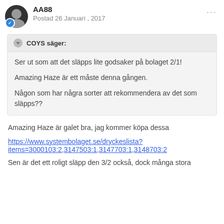AA88
Postad 26 Januari , 2017
COYS säger:
Ser ut som att det släpps lite godsaker på bolaget 2/1!

Amazing Haze är ett måste denna gången.

Någon som har några sorter att rekommendera av det som släpps??
Amazing Haze är galet bra, jag kommer köpa dessa
https://www.systembolaget.se/dryckeslista?items=3000103:2,3147503:1,3147703:1,3148703:2
Sen är det ett roligt släpp den 3/2 också, dock många stora